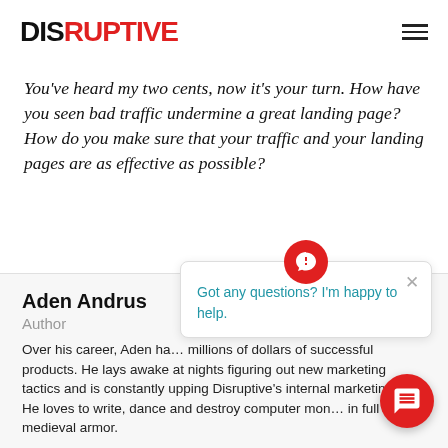DISRUPTIVE
You've heard my two cents, now it's your turn. How have you seen bad traffic undermine a great landing page? How do you make sure that your traffic and your landing pages are as effective as possible?
Aden Andrus
Author
Over his career, Aden ha... millions of dollars of successful products. He lays awake at nights figuring out new marketing tactics and is constantly upping Disruptive's internal marketing g... He loves to write, dance and destroy computer mon... in full medieval armor.
Got any questions? I'm happy to help.